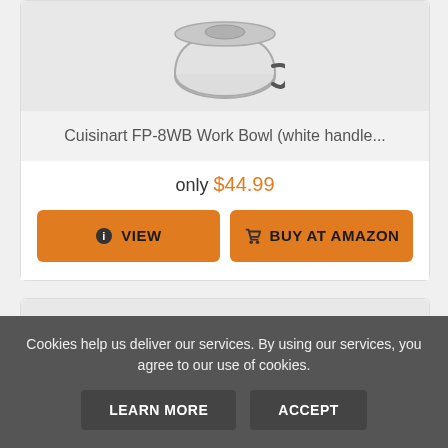[Figure (photo): Cuisinart FP-8WB food processor work bowl with white handle, partial top view]
Cuisinart FP-8WB Work Bowl (white handle...
only $44.99
VIEW
BUY AT AMAZON
[Figure (photo): White rice cooker or small kitchen appliance, top-down view showing lid and handle]
Cookies help us deliver our services. By using our services, you agree to our use of cookies.
LEARN MORE
ACCEPT